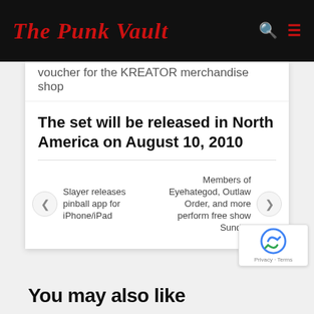The Punk Vault
voucher for the KREATOR merchandise shop
The set will be released in North America on August 10, 2010
Slayer releases pinball app for iPhone/iPad
Members of Eyehategod, Outlaw Order, and more perform free show Sunday
You may also like